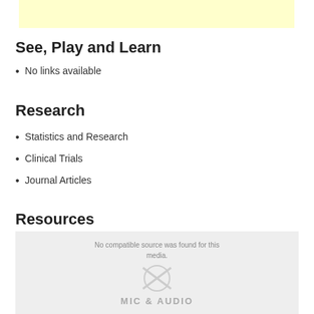[Figure (other): Light yellow banner/advertisement placeholder at top of page]
See, Play and Learn
No links available
Research
Statistics and Research
Clinical Trials
Journal Articles
Resources
[Figure (other): Media error box with microphone and audio icon, text reading 'No compatible source was found for this media.' and 'MIC & AUDIO' watermark text]